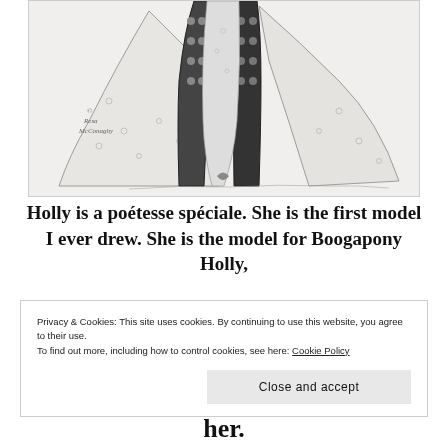[Figure (illustration): A pencil sketch illustration showing a figure in an elaborate dress with decorative boots, a wide flowing skirt with floral details. The artist signature reads '© Resa McConaghy' in the lower left area of the drawing.]
Holly is a poétesse spéciale. She is the first model I ever drew. She is the model for Boogapony Holly,
Privacy & Cookies: This site uses cookies. By continuing to use this website, you agree to their use.
To find out more, including how to control cookies, see here: Cookie Policy
Close and accept
her.